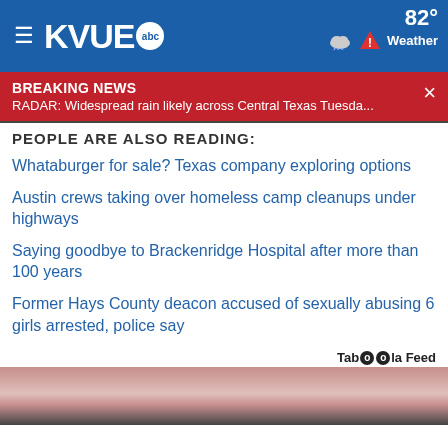KVUE abc — 82° Weather
BREAKING NEWS — RADAR: Widespread rain likely across Central Texas Tuesda...
PEOPLE ARE ALSO READING:
Whataburger for sale? Texas company exploring options
Austin crews taking over homeless camp cleanups under highways
Saying goodbye to Brackenridge Hospital after more than 100 years
Former Hays County deacon accused of sexually abusing 6 girls arrested, police say
Taboola Feed
[Figure (photo): Close-up image of fingers/nails at bottom of page]